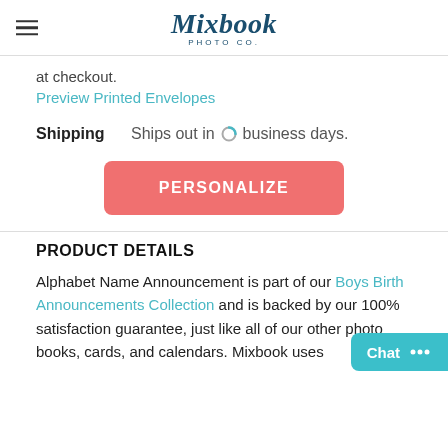Mixbook PHOTO CO.
at checkout.
Preview Printed Envelopes
Shipping   Ships out in ◑ business days.
PERSONALIZE
PRODUCT DETAILS
Alphabet Name Announcement is part of our Boys Birth Announcements Collection and is backed by our 100% satisfaction guarantee, just like all of our other photo books, cards, and calendars. Mixbook uses
Chat